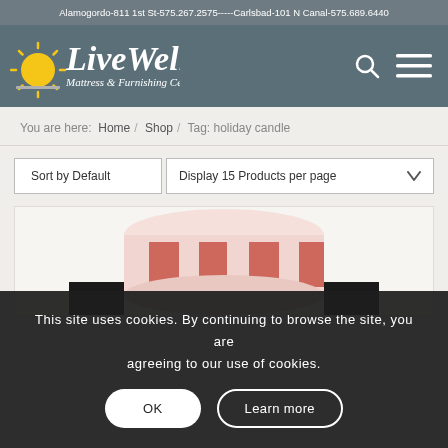Alamogordo-811 1st St-575.267.2575-----Carlsbad-101 N Canal-575.689.6440
[Figure (logo): LiveWell Mattress & Furnishing Centres logo with sun icon, white text on teal background]
You are here: Home / Shop / Tag: holiday candle
Sort by Default
Display 15 Products per page
[Figure (photo): A holiday candle with red and white pattern visible from top, with dark background]
This site uses cookies. By continuing to browse the site, you are agreeing to our use of cookies.
OK
Learn more